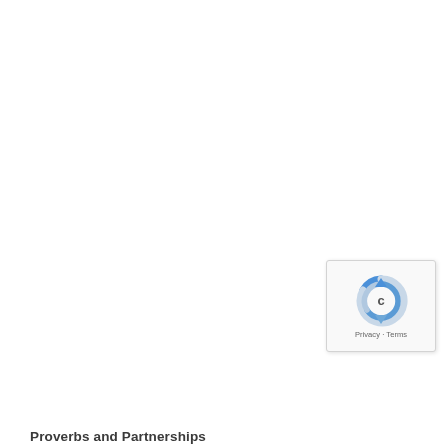[Figure (logo): reCAPTCHA widget with spinning arrows logo and Privacy · Terms text]
Proverbs and Partnerships